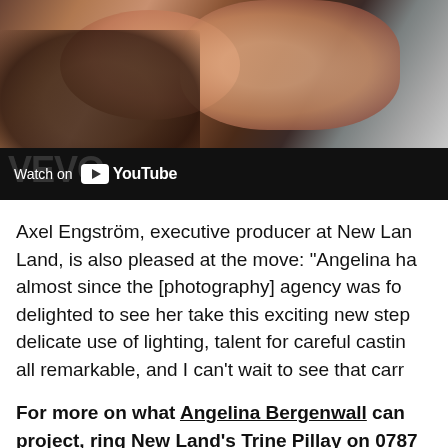[Figure (screenshot): YouTube/Vevo video screenshot showing two people in an intimate close-up scene, with a 'Watch on YouTube' bar at the bottom overlaid on a dark Vevo background.]
Axel Engström, executive producer at New Land, is also pleased at the move: "Angelina has almost since the [photography] agency was founded, delighted to see her take this exciting new step. Her delicate use of lighting, talent for careful casting are all remarkable, and I can't wait to see that carried over.
For more on what Angelina Bergenwall can bring to your project, ring New Land's Trine Pillay on 0787... trine@newland.tv.